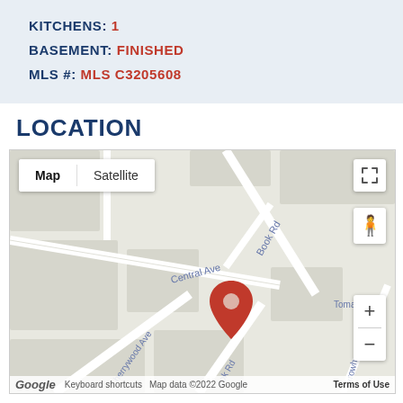KITCHENS: 1
BASEMENT: FINISHED
MLS #: MLS C3205608
LOCATION
[Figure (map): Google Maps street map showing location pin on Central Ave near Book Rd and Cherrywood Ave with map/satellite toggle controls, zoom buttons, and pegman icon.]